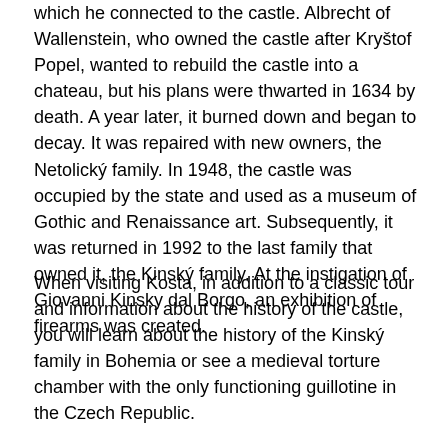which he connected to the castle. Albrecht of Wallenstein, who owned the castle after Kryštof Popel, wanted to rebuild the castle into a chateau, but his plans were thwarted in 1634 by death. A year later, it burned down and began to decay. It was repaired with new owners, the Netolický family. In 1948, the castle was occupied by the state and used as a museum of Gothic and Renaissance art. Subsequently, it was returned in 1992 to the last family that owned it, the Kinský family. At the instigation of Giovanni Kinsky dal Borgo, an exhibition of firearms was created.
When visiting Kosta, in addition to a classic tour and information about the history of the castle, you will learn about the history of the Kinský family in Bohemia or see a medieval torture chamber with the only functioning guillotine in the Czech Republic.